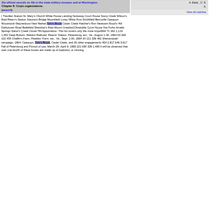the official records on file in the state military bureaus and at Washington, Chapter 8: Corps organizations. (search)
A. Early, C. S. A.
View all matches
r Trevilian Station St. Mary's Church White House Landing Nottoway Court House Stony Creek Wilson's Raid Ream's Station Staunton Bridge Moorefield Luray White Post Smithfield Berryville Opequon Woodstock Waynesboro New Market Tom's Brook Cedar Creek Hatcher's Run Newtown Rood's Hill Darbytown Road Bellefield Sheridan's Raid Mount Crawford Dinwiddie Court House five Forks Amelia Springs Sailor's Creek Clover Hill Appomattox. This list covers only the more impor864 71 262 1,119 1,452 Deep Bottom, Weldon Railroad, Reams' Station, Petersburg, etc., Va., August 1-30, 1864 64 269 122 455 Chaffin's Farm, Peebles' Farm, etc., Va., Sept. 1-30, 1864 24 121 336 481 Shenandoah campaign, 1864; Opequon, Tom's Brook, Cedar Creek, and 26 other engagements 454 2,817 646 3,917 Fall of Petersburg and Pursuit of Lee, March 29--April 9, 1865 221 930 339 1,490 It will be observed that over one-fourth of these losses are made up of captured, or missing,